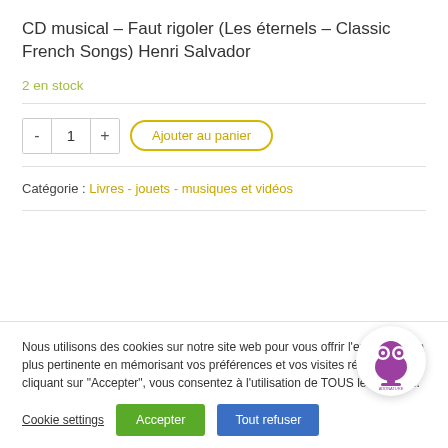CD musical – Faut rigoler (Les éternels – Classic French Songs) Henri Salvador
2 en stock
Catégorie : Livres - jouets - musiques et vidéos
Nous utilisons des cookies sur notre site web pour vous offrir l'expérience la plus pertinente en mémorisant vos préférences et vos visites répétées. En cliquant sur "Accepter", vous consentez à l'utilisation de TOUS les cookies.
Cookie settings
Accepter
Tout refuser